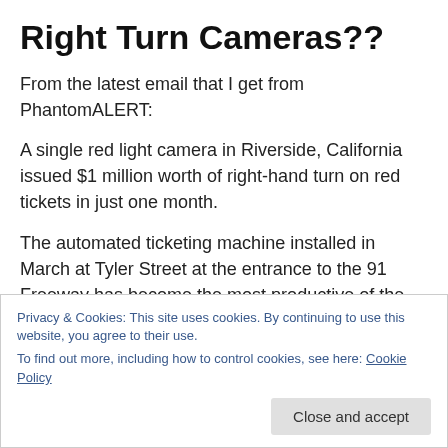Right Turn Cameras??
From the latest email that I get from PhantomALERT:
A single red light camera in Riverside, California issued $1 million worth of right-hand turn on red tickets in just one month.
The automated ticketing machine installed in March at Tyler Street at the entrance to the 91 Freeway has become the most productive of the city's cameras and now
Privacy & Cookies: This site uses cookies. By continuing to use this website, you agree to their use.
To find out more, including how to control cookies, see here: Cookie Policy